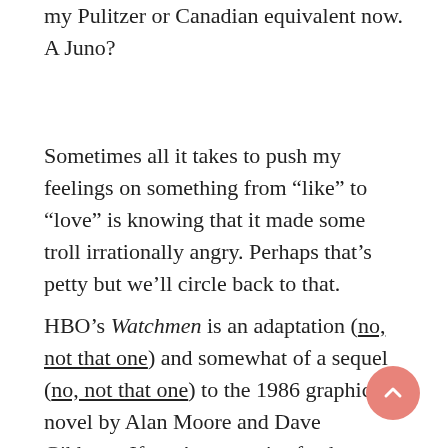my Pulitzer or Canadian equivalent now. A Juno?
Sometimes all it takes to push my feelings on something from “like” to “love” is knowing that it made some troll irrationally angry. Perhaps that’s petty but we’ll circle back to that.
HBO’s Watchmen is an adaptation (no, not that one) and somewhat of a sequel (no, not that one) to the 1986 graphic novel by Alan Moore and Dave Gibbons. If you’re a comics fan born within the last 32 years, you’re issued a copy at birth and it is mandated that you read and agree that it is the greatest comic ever to grace the printed page (even that supplemental material at the